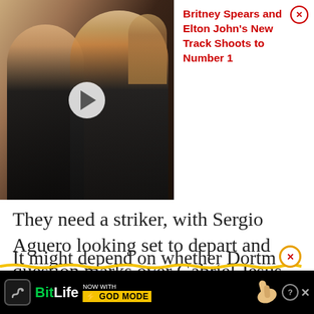[Figure (photo): Photo of two people (woman with blonde hair in black dress and man with pink-tinted glasses) with a video play button overlay]
Britney Spears and Elton John's New Track Shoots to Number 1
They need a striker, with Sergio Aguero looking set to depart and question marks over Gabriel Jesus.
It remains to be seen if they can get Haaland out of Dortmund in the months ahead.
It might depend on whether Dortm...
[Figure (screenshot): BitLife advertisement banner — NOW WITH GOD MODE]